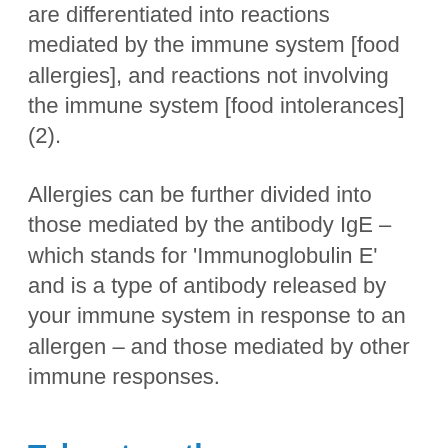are differentiated into reactions mediated by the immune system [food allergies], and reactions not involving the immune system [food intolerances] (2).
Allergies can be further divided into those mediated by the antibody IgE – which stands for 'Immunoglobulin E' and is a type of antibody released by your immune system in response to an allergen – and those mediated by other immune responses.
Taken together, we can break down the